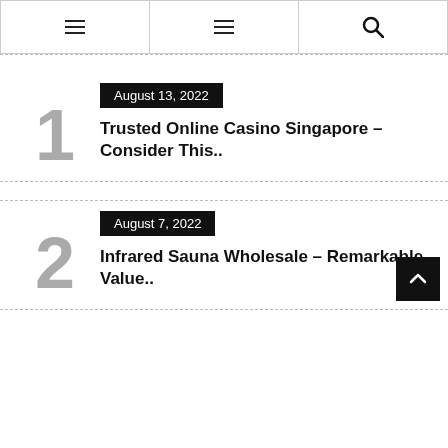Navigation menu icons and search icon
1 | August 13, 2022 | Trusted Online Casino Singapore – Consider This..
2 | August 7, 2022 | Infrared Sauna Wholesale – Remarkable Value..